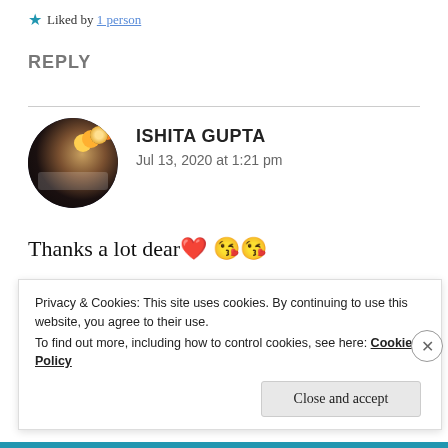★ Liked by 1 person
REPLY
ISHITA GUPTA
Jul 13, 2020 at 1:21 pm
Thanks a lot dear❤️😘😘
★ Like
Privacy & Cookies: This site uses cookies. By continuing to use this website, you agree to their use.
To find out more, including how to control cookies, see here: Cookie Policy
Close and accept